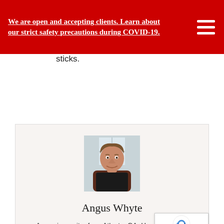We are open and accepting clients. Learn about our strict safety precautions during COVID-19.
sticks.
[Figure (photo): Portrait photo of Angus Whyte, a middle-aged man with brown hair, smiling, wearing a dark jacket, seated in front of a window.]
Angus Whyte
Angus is a writer from Atlanta, GA. He writes about behavioral health, adolescent development, education, and